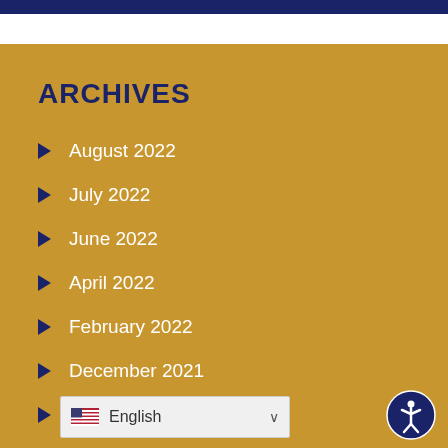ARCHIVES
August 2022
July 2022
June 2022
April 2022
February 2022
December 2021
October 2021
September 2021
August 2021
June 2021